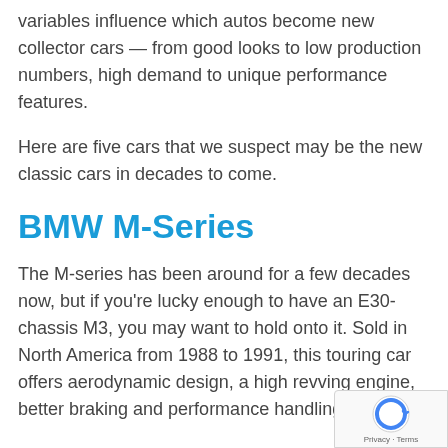variables influence which autos become new collector cars — from good looks to low production numbers, high demand to unique performance features.
Here are five cars that we suspect may be the new classic cars in decades to come.
BMW M-Series
The M-series has been around for a few decades now, but if you're lucky enough to have an E30-chassis M3, you may want to hold onto it. Sold in North America from 1988 to 1991, this touring car offers aerodynamic design, a high revving engine, better braking and performance handling.